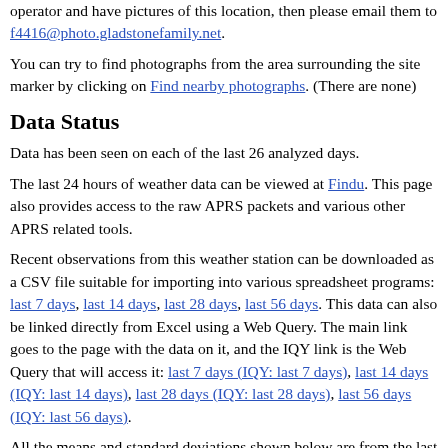operator and have pictures of this location, then please email them to f4416@photo.gladstonefamily.net.
You can try to find photographs from the area surrounding the site marker by clicking on Find nearby photographs. (There are none)
Data Status
Data has been seen on each of the last 26 analyzed days.
The last 24 hours of weather data can be viewed at Findu. This page also provides access to the raw APRS packets and various other APRS related tools.
Recent observations from this weather station can be downloaded as a CSV file suitable for importing into various spreadsheet programs: last 7 days, last 14 days, last 28 days, last 56 days. This data can also be linked directly from Excel using a Web Query. The main link goes to the page with the data on it, and the IQY link is the Web Query that will access it: last 7 days (IQY: last 7 days), last 14 days (IQY: last 14 days), last 28 days (IQY: last 28 days), last 56 days (IQY: last 56 days).
All the means and standard deviations shown below are from the last 28 days. Change analysis period to Last 3 days Last 7 days...